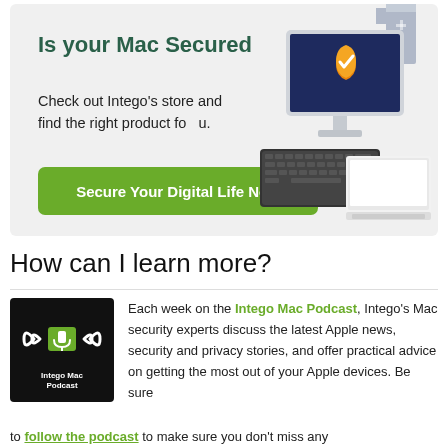[Figure (infographic): Intego Mac security advertisement banner with headline 'Is your Mac Secured?', subtext 'Check out Intego's store and find the right product for you.', a green button 'Secure Your Digital Life Now', and an illustration of a Mac computer with keyboard, laptop, and a security shield checkmark, on a light gray background.]
How can I learn more?
[Figure (logo): Intego Mac Podcast logo: black square with sound wave icon and a green rectangle in the center, text 'Intego Mac Podcast' below the icon in white.]
Each week on the Intego Mac Podcast, Intego's Mac security experts discuss the latest Apple news, security and privacy stories, and offer practical advice on getting the most out of your Apple devices. Be sure to follow the podcast to make sure you don't miss any